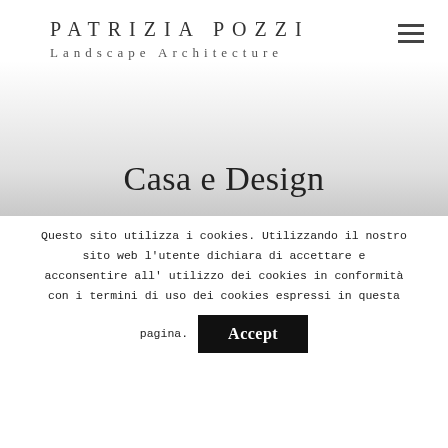PATRIZIA POZZI
Landscape Architecture
Casa e Design
Questo sito utilizza i cookies. Utilizzando il nostro sito web l'utente dichiara di accettare e acconsentire all' utilizzo dei cookies in conformità con i termini di uso dei cookies espressi in questa pagina.
Accept